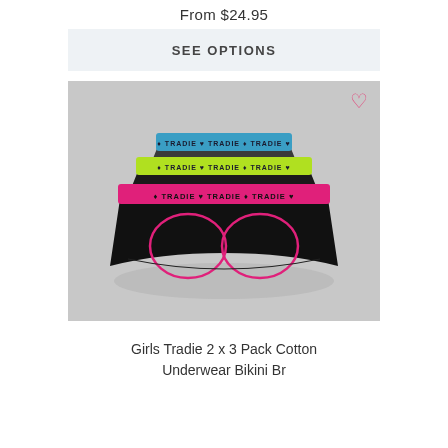From $24.95
SEE OPTIONS
[Figure (photo): Three pairs of Tradie girls bikini briefs stacked, showing blue, yellow-green, and pink waistbands with TRADIE branding on a light grey background.]
Girls Tradie 2 x 3 Pack Cotton Underwear Bikini Br